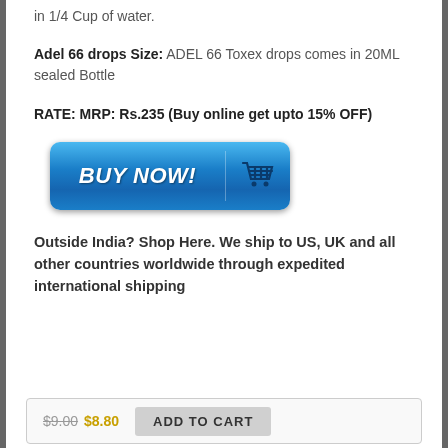in 1/4 Cup of water.
Adel 66 drops Size: ADEL 66 Toxex drops comes in 20ML sealed Bottle
RATE: MRP: Rs.235 (Buy online get upto 15% OFF)
[Figure (other): Blue 'BUY NOW!' button with shopping cart icon]
Outside India? Shop Here. We ship to US, UK and all other countries worldwide through expedited international shipping
$9.00 $8.80 ADD TO CART